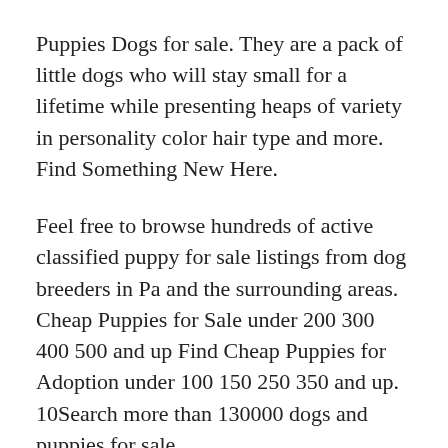Puppies Dogs for sale. They are a pack of little dogs who will stay small for a lifetime while presenting heaps of variety in personality color hair type and more. Find Something New Here.
Feel free to browse hundreds of active classified puppy for sale listings from dog breeders in Pa and the surrounding areas. Cheap Puppies for Sale under 200 300 400 500 and up Find Cheap Puppies for Adoption under 100 150 250 350 and up. 10Search more than 130000 dogs and puppies for sale.
0000 the Call 000000 0000 [clipped]